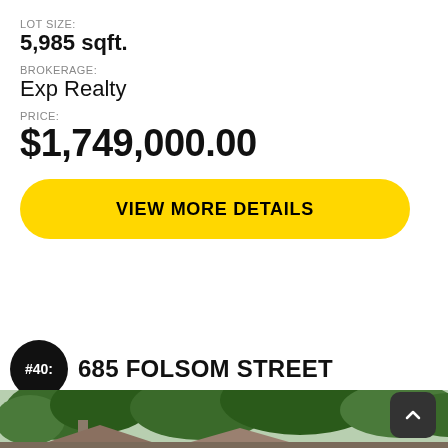LOT SIZE:
5,985 sqft.
BROKERAGE:
Exp Realty
PRICE:
$1,749,000.00
VIEW MORE DETAILS
#40: 685 FOLSOM STREET
[Figure (photo): Exterior photo of a house with trees in the background, showing roofline and chimney]